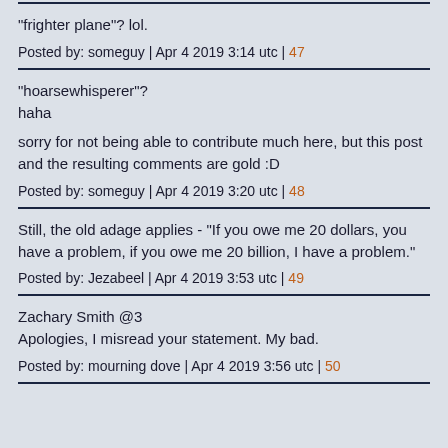"frighter plane"? lol.
Posted by: someguy | Apr 4 2019 3:14 utc | 47
"hoarsewhisperer"?
haha

sorry for not being able to contribute much here, but this post and the resulting comments are gold :D
Posted by: someguy | Apr 4 2019 3:20 utc | 48
Still, the old adage applies - "If you owe me 20 dollars, you have a problem, if you owe me 20 billion, I have a problem."
Posted by: Jezabeel | Apr 4 2019 3:53 utc | 49
Zachary Smith @3
Apologies, I misread your statement. My bad.
Posted by: mourning dove | Apr 4 2019 3:56 utc | 50